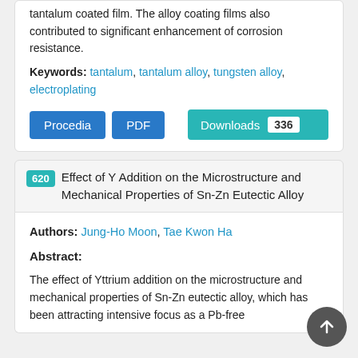tantalum coated film. The alloy coating films also contributed to significant enhancement of corrosion resistance.
Keywords: tantalum, tantalum alloy, tungsten alloy, electroplating
Procedia  PDF  Downloads 336
620 Effect of Y Addition on the Microstructure and Mechanical Properties of Sn-Zn Eutectic Alloy
Authors: Jung-Ho Moon, Tae Kwon Ha
Abstract:
The effect of Yttrium addition on the microstructure and mechanical properties of Sn-Zn eutectic alloy, which has been attracting intensive focus as a Pb-free